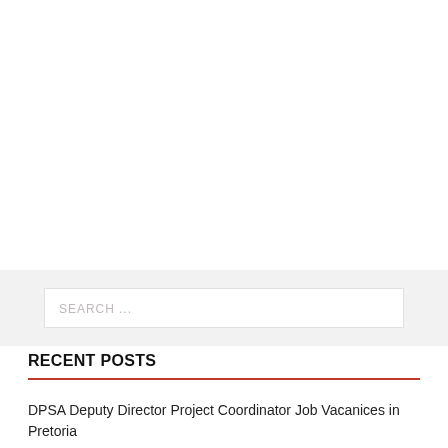SEARCH ...
RECENT POSTS
DPSA Deputy Director Project Coordinator Job Vacanices in Pretoria